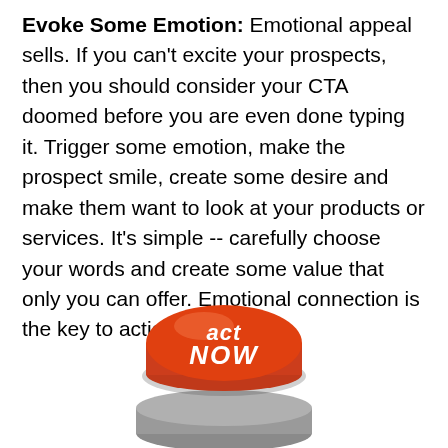Evoke Some Emotion: Emotional appeal sells. If you can't excite your prospects, then you should consider your CTA doomed before you are even done typing it. Trigger some emotion, make the prospect smile, create some desire and make them want to look at your products or services. It's simple -- carefully choose your words and create some value that only you can offer. Emotional connection is the key to action.
[Figure (illustration): A 3D red button with white italic text reading 'act NOW', mounted on a gray metallic base, photographed at an angle.]